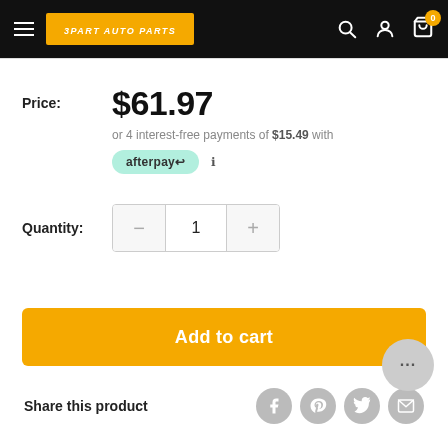[Figure (screenshot): E-commerce website header with hamburger menu, 3PART AUTO PARTS logo in orange, search icon, account icon, and cart icon with badge showing 0]
Price: $61.97
or 4 interest-free payments of $15.49 with afterpay
Quantity: 1
Add to cart
Share this product